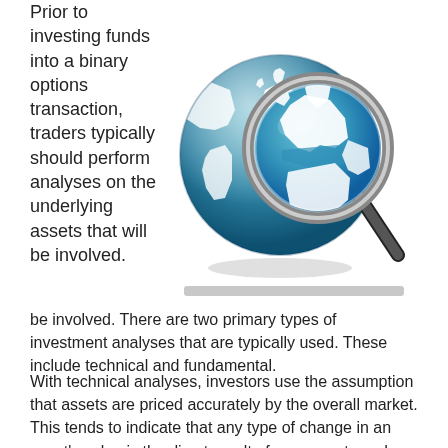Prior to investing funds into a binary options transaction, traders typically should perform analyses on the underlying assets that will be involved.
[Figure (illustration): A globe with a magnifying glass zoomed in on Europe and Africa, illustrating global market analysis for binary options trading.]
[blurred/redacted caption text]
be involved. There are two primary types of investment analyses that are typically used. These include technical and fundamental.
With technical analyses, investors use the assumption that assets are priced accurately by the overall market. This tends to indicate that any type of change in an asset's value is the direct result of movements and trends that can be